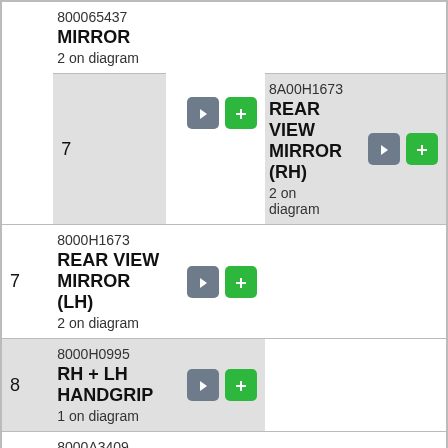| Ref | Part Info | Actions |
| --- | --- | --- |
|  | 800065437 |  |
| 7 | MIRROR
2 on diagram |  |
|  | 8A00H1673 |  |
| 7 | REAR VIEW MIRROR (RH)
2 on diagram |  |
|  | 8000H1673 |  |
| 7 | REAR VIEW MIRROR (LH)
2 on diagram |  |
|  | 8000H0995 |  |
| 8 | RH + LH HANDGRIP
1 on diagram |  |
|  | 8000A3409 |  |
| 9 | SLAVE CYLINDER PISTON
1 on diagram |  |
|  | 8000A3410 |  |
| 10 | BREATHER-BRAKE.
1 on diagram |  |
|  | 8000A3841 |  |